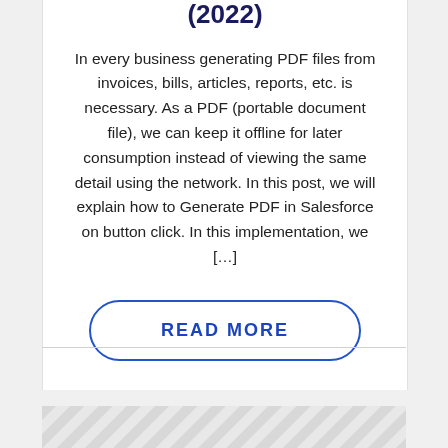(2022)
In every business generating PDF files from invoices, bills, articles, reports, etc. is necessary. As a PDF (portable document file), we can keep it offline for later consumption instead of viewing the same detail using the network. In this post, we will explain how to Generate PDF in Salesforce on button click. In this implementation, we […]
READ MORE